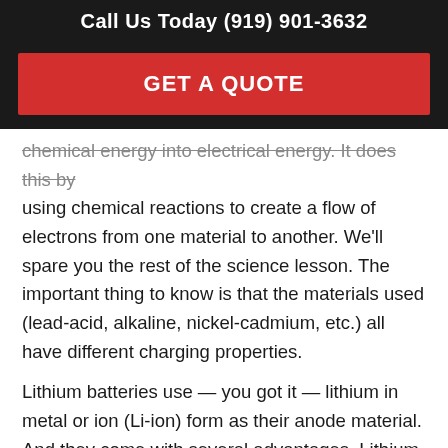Call Us Today (919) 901-3632
GET A QUOTE
chemical energy into electrical energy. It does this by using chemical reactions to create a flow of electrons from one material to another. We'll spare you the rest of the science lesson. The important thing to know is that the materials used (lead-acid, alkaline, nickel-cadmium, etc.) all have different charging properties.
Lithium batteries use — you got it — lithium in metal or ion (Li-ion) form as their anode material. And they come with several advantages. Lithium-ion batteries are easily rechargeable and have the highest energy density of any battery technology, meaning they pack